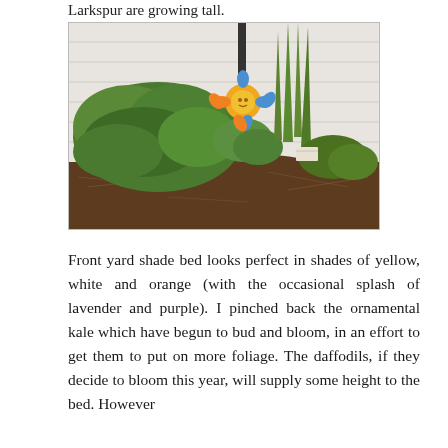Larkspur are growing tall.
[Figure (photo): Garden bed photo showing green leafy plants and tall grass-like plants with long narrow leaves, a decorative sun/flower garden ornament, mulched soil, against a white house siding background.]
Front yard shade bed looks perfect in shades of yellow, white and orange (with the occasional splash of lavender and purple). I pinched back the ornamental kale which have begun to bud and bloom, in an effort to get them to put on more foliage. The daffodils, if they decide to bloom this year, will supply some height to the bed. However